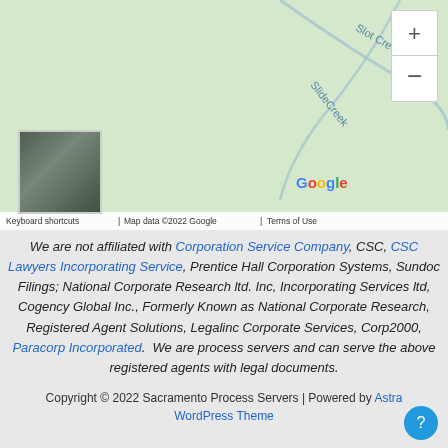[Figure (map): Google Map showing Slot Creek and Slide Creek area with green terrain, a small photo thumbnail in lower left, zoom controls in upper right, and Google logo. Map attribution: Keyboard shortcuts | Map data ©2022 Google | Terms of Use]
We are not affiliated with Corporation Service Company, CSC, CSC Lawyers Incorporating Service, Prentice Hall Corporation Systems, Sundoc Filings; National Corporate Research ltd. Inc, Incorporating Services ltd, Cogency Global Inc., Formerly Known as National Corporate Research, Registered Agent Solutions, Legalinc Corporate Services, Corp2000, Paracorp Incorporated. We are process servers and can serve the above registered agents with legal documents.
Copyright © 2022 Sacramento Process Servers | Powered by Astra WordPress Theme